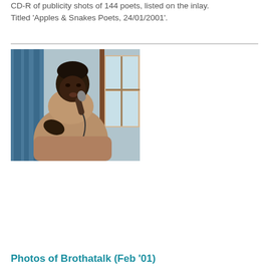CD-R of publicity shots of 144 poets, listed on the inlay. Titled ‘Apples & Snakes Poets, 24/01/2001’.
[Figure (photo): A Black man in a tan/beige coat performing spoken word poetry into a microphone indoors, with a blue curtain and wooden door visible in the background.]
Photos of Brothatalk (Feb ’01)